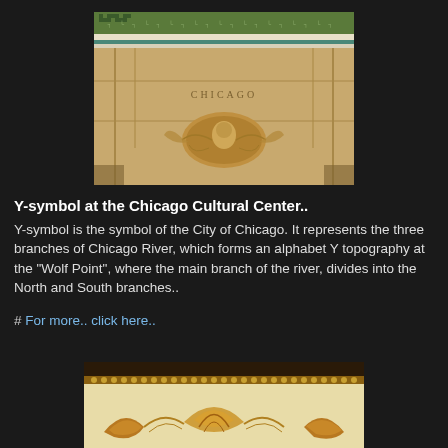[Figure (photo): Interior ceiling photo of the Chicago Cultural Center showing mosaic tile patterns with Greek key border design in green and white, and a central decorative medallion on a beige/tan ceiling. Text 'CHICAGO' visible on the ceiling surface.]
Y-symbol at the Chicago Cultural Center..
Y-symbol is the symbol of the City of Chicago. It represents the three branches of Chicago River, which forms an alphabet Y topography at the "Wolf Point", where the main branch of the river, divides into the North and South branches..
# For more.. click here..
[Figure (photo): Bottom portion of an ornate interior architectural detail showing decorative molding with golden/bronze colored acanthus leaf and scroll ornamentation on a cream/beige background.]